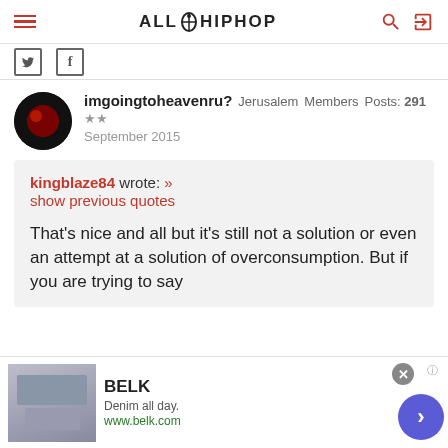ALLHIPHOP
Twitter share icon, Facebook share icon
imgoingtoheavenru?  Jerusalem  Members  Posts: 291  ★★  September 2015
kingblaze84 wrote: »
show previous quotes

That's nice and all but it's still not a solution or even an attempt at a solution of overconsumption. But if you are trying to say
[Figure (screenshot): BELK advertisement banner: Denim all day. www.belk.com with clothing imagery]